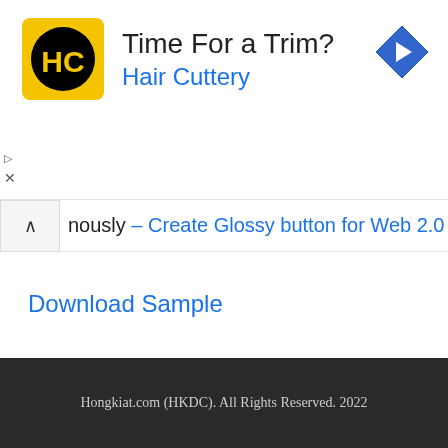[Figure (logo): Hair Cuttery advertisement banner with HC logo in yellow square, 'Time For a Trim?' heading, 'Hair Cuttery' subtitle in blue, and a blue diamond arrow icon on the right]
nously – Create Glossy button for Web 2.0
Download Sample
Show Comments
Hongkiat.com (HKDC). All Rights Reserved. 2022